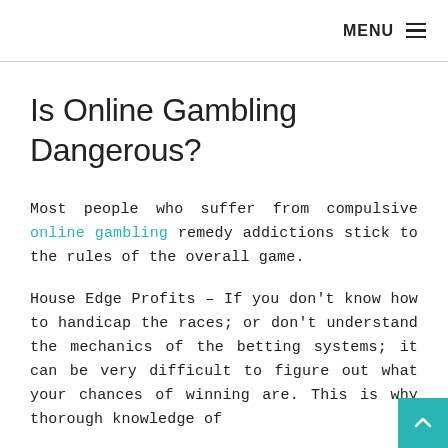MENU ≡
Is Online Gambling Dangerous?
Most people who suffer from compulsive online gambling remedy addictions stick to the rules of the overall game.
House Edge Profits – If you don't know how to handicap the races; or don't understand the mechanics of the betting systems; it can be very difficult to figure out what your chances of winning are. This is why thorough knowledge of